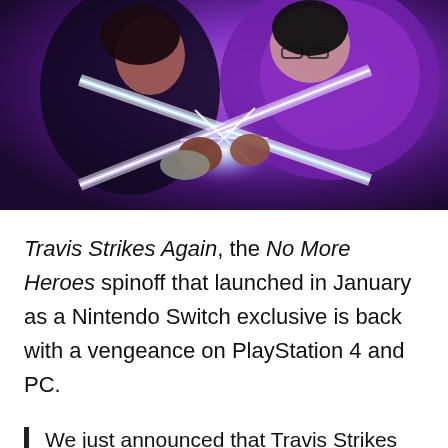[Figure (illustration): Comic book style illustration of two characters clashing with glowing energy blades. One character in dark clothing on the left, another in a purple jacket on the right. Bright white/blue light beams cross between them.]
Travis Strikes Again, the No More Heroes spinoff that launched in January as a Nintendo Switch exclusive is back with a vengeance on PlayStation 4 and PC.
We just announced that Travis Strikes